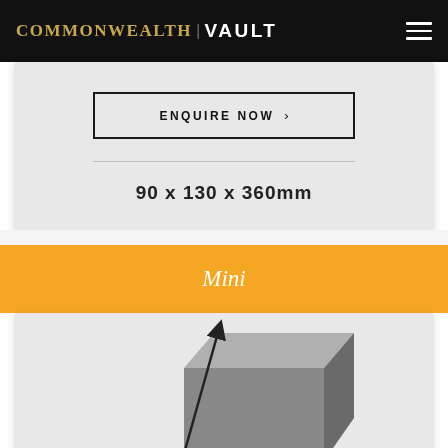COMMONWEALTH | VAULT
ENQUIRE NOW >
90 x 130 x 360mm
Mini
[Figure (illustration): Partial view of a 3D safe/vault box illustration in grey tones, shown from a perspective angle with a diagonal arrow indicating dimensions]